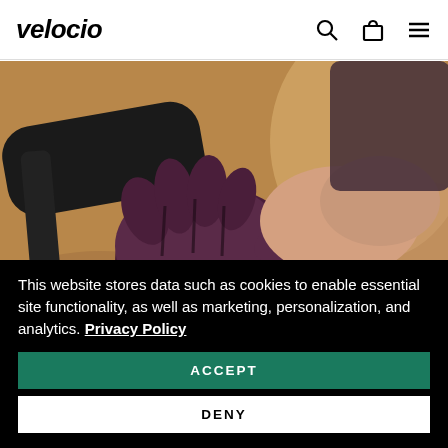velocio
[Figure (photo): Close-up photo of a hand wearing a dark purple/maroon fingerless cycling glove with the Velocio logo, gripping a bicycle handlebar with blue bar tape. A pink/red light is visible. Blurred outdoor background.]
This website stores data such as cookies to enable essential site functionality, as well as marketing, personalization, and analytics. Privacy Policy
ACCEPT
DENY